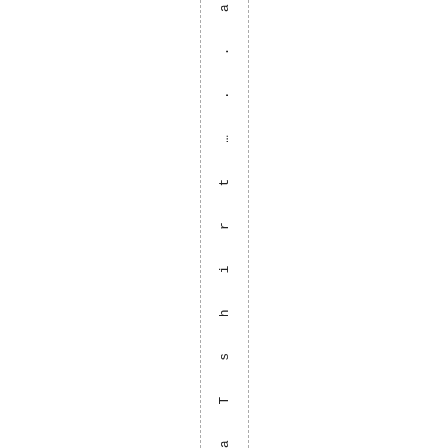a T s h i r t … . . a h w e l l i g u e s s t h a t w a s t h